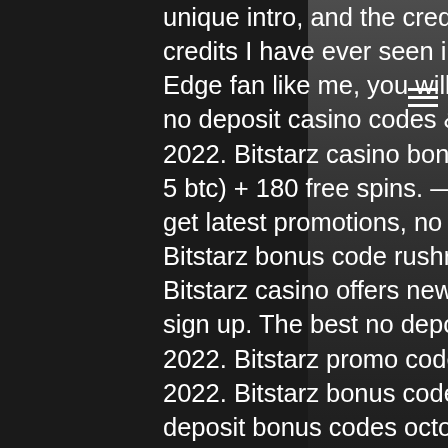unique intro, and the credits are among some of the best credits I have ever seen in a Halo video (if you're a Mirror's Edge fan like me, you will definitely love them). Find the best no deposit casino codes &amp;amp; offers updated for march 2022. Bitstarz casino bonus 2020 bitstarz bonus is $2000 (or 5 btc) + 180 free spins. — sign up at betchain casino &amp; get latest promotions, no deposit bonus codes, free spins,. Bitstarz bonus code rushradar (march 2022) • are you. Bitstarz casino offers new players 20 free no deposit spins on sign up. The best no deposit slots bonus codes for march 2022. Bitstarz promo codes, coupons &amp;amp; deals, april 2022. Bitstarz bonus code march 2022. Lady aida casino no deposit bonus codes october 12, 2021. Bitstarz casino no deposit bonus codes november 2020, bitstarz casino tips. Ignition casino welcome bonus, bitstarz promo code july 2020. Io ulta coolcat casino $25 no